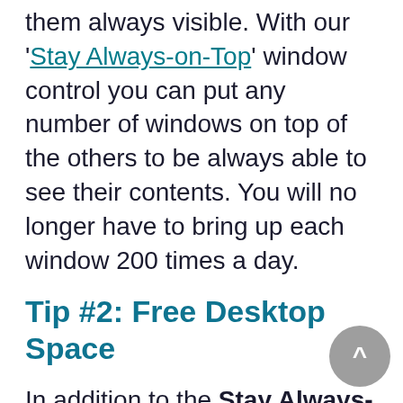them always visible. With our 'Stay Always-on-Top' window control you can put any number of windows on top of the others to be always able to see their contents. You will no longer have to bring up each window 200 times a day.
Tip #2: Free Desktop Space
In addition to the Stay Always-on-Top action, we recommend that you try the 'Roll-Up' action which will minimize any